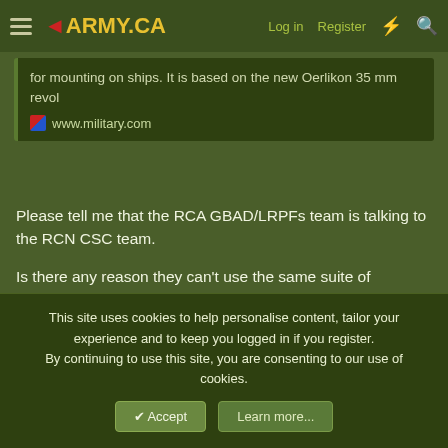ARMY.CA — Log in | Register
for mounting on ships. It is based on the new Oerlikon 35 mm revol
www.military.com
Please tell me that the RCA GBAD/LRPFs team is talking to the RCN CSC team.

Is there any reason they can't use the same suite of missiles, cannons, and fire control? Sensors might need a bit of tweaking - maybe
Kirkhill
Army.ca Myth  Subscriber  Donor
This site uses cookies to help personalise content, tailor your experience and to keep you logged in if you register.
By continuing to use this site, you are consenting to our use of cookies.